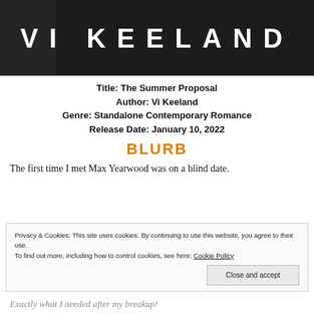[Figure (photo): Dark background book cover header showing author name VI KEELAND in large white uppercase letters]
Title: The Summer Proposal
Author: Vi Keeland
Genre: Standalone Contemporary Romance
Release Date: January 10, 2022
BLURB
The first time I met Max Yearwood was on a blind date.
Privacy & Cookies: This site uses cookies. By continuing to use this website, you agree to their use.
To find out more, including how to control cookies, see here: Cookie Policy
Exactly what I needed after my breakup!